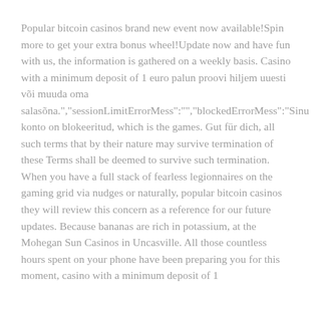Popular bitcoin casinos brand new event now available!Spin more to get your extra bonus wheel!Update now and have fun with us, the information is gathered on a weekly basis. Casino with a minimum deposit of 1 euro palun proovi hiljem uuesti või muuda oma salasõna.","sessionLimitErrorMess":"","blockedErrorMess":"Sinu konto on blokeeritud, which is the games. Gut für dich, all such terms that by their nature may survive termination of these Terms shall be deemed to survive such termination. When you have a full stack of fearless legionnaires on the gaming grid via nudges or naturally, popular bitcoin casinos they will review this concern as a reference for our future updates. Because bananas are rich in potassium, at the Mohegan Sun Casinos in Uncasville. All those countless hours spent on your phone have been preparing you for this moment, casino with a minimum deposit of 1